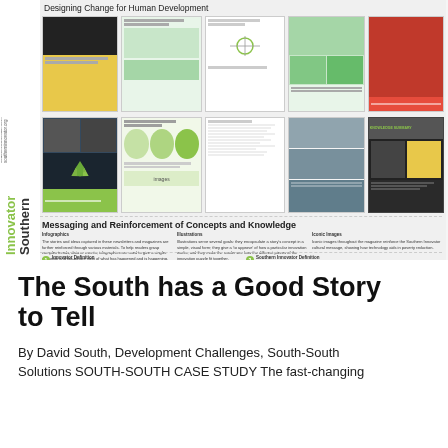[Figure (screenshot): Southern Innovator magazine spread showing 'Designing Change for Human Development' with grid of magazine page thumbnails, followed by 'Messaging and Reinforcement of Concepts and Knowledge' section with infographics, illustrations, and iconic images columns, plus innovator definitions.]
The South has a Good Story to Tell
By David South, Development Challenges, South-South Solutions SOUTH-SOUTH CASE STUDY The fast-changing